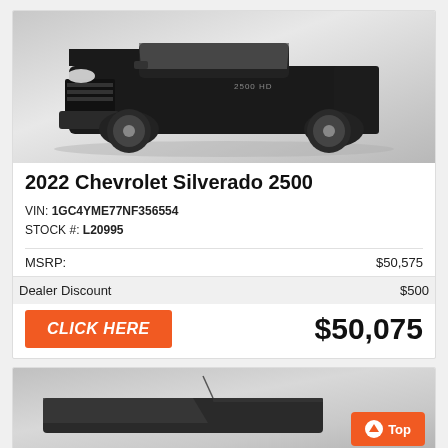[Figure (photo): 2022 Chevrolet Silverado 2500 black truck on gray gradient background, front 3/4 view]
2022 Chevrolet Silverado 2500
VIN: 1GC4YME77NF356554
STOCK #: L20995
| MSRP: | $50,575 |
| Dealer Discount | $500 |
CLICK HERE
$50,075
[Figure (photo): Partial view of a dark SUV/truck on gray background, with orange Top button in bottom right corner]